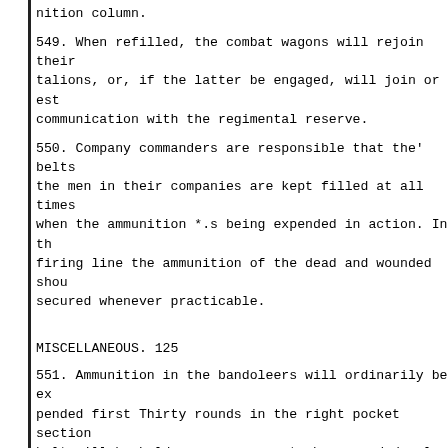nition column.
549. When refilled, the combat wagons will rejoin their talions, or, if the latter be engaged, will join or est communication with the regimental reserve.
550. Company commanders are responsible that the' belts the men in their companies are kept filled at all times when the ammunition *.s being expended in action. In th firing line the ammunition of the dead and wounded shou secured whenever practicable.
MISCELLANEOUS. 125
551. Ammunition in the bandoleers will ordinarily be ex pended first Thirty rounds in the right pocket section belt will be held as a reserve, to be expended only whe ordered by an officer.
552. When necessary to resupply the firing line, ammuni will be sent forward with reenforcements, generally fro regimental reserve.
Men will never be sent back from the firing line for am nition. Men sent forward with ammunition remain with th firing line.
553. As soon as possible after an engagement the belts gar and the combat wagons are resupplied to their nor